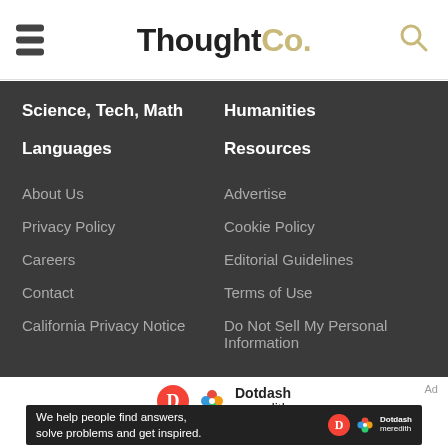ThoughtCo.
Science, Tech, Math
Humanities
Languages
Resources
About Us
Advertise
Privacy Policy
Cookie Policy
Careers
Editorial Guidelines
Contact
Terms of Use
California Privacy Notice
Do Not Sell My Personal Information
[Figure (logo): Dotdash Meredith logo with red circle D, colorful flower icon, and text]
[Figure (infographic): Ad banner: We help people find answers, solve problems and get inspired. Dotdash Meredith logo.]